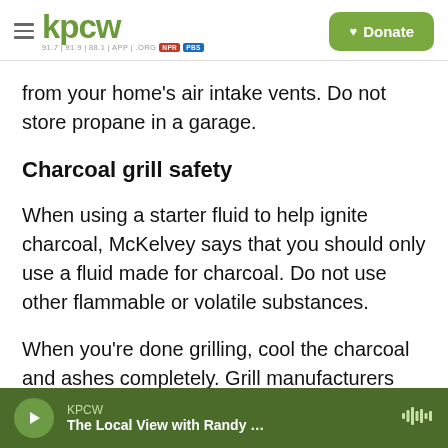KPCW — Donate
from your home's air intake vents. Do not store propane in a garage.
Charcoal grill safety
When using a starter fluid to help ignite charcoal, McKelvey says that you should only use a fluid made for charcoal. Do not use other flammable or volatile substances.
When you're done grilling, cool the charcoal and ashes completely. Grill manufacturers Kingsford and Char-Broil both recommend closing the lid to
KPCW — The Local View with Randy …